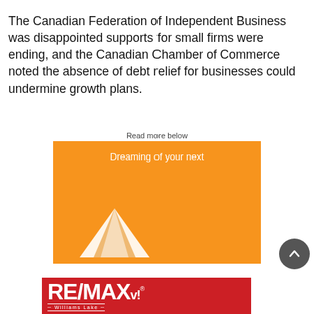The Canadian Federation of Independent Business was disappointed supports for small firms were ending, and the Canadian Chamber of Commerce noted the absence of debt relief for businesses could undermine growth plans.
Read more below
[Figure (illustration): Orange advertisement banner with text 'Dreaming of your next' in white and a tent/house illustration at the bottom left, for RE/MAX Williams Lake.]
[Figure (logo): RE/MAX Williams Lake logo banner — red background with white RE/MAX logo and 'Williams Lake' text beneath.]